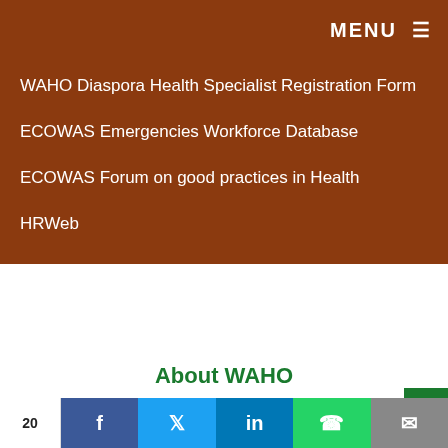MENU ☰
WAHO Diaspora Health Specialist Registration Form
ECOWAS Emergencies Workforce Database
ECOWAS Forum on good practices in Health
HRWeb
About WAHO
Mission
As a Specialized Institution of the Economic Community of West African States (ECOWAS), the West African Health Organisation (WAHO) was established by the Treaty of 1987, as revised in 2004, and mandated to achieve the highest possible standard and protection of health for the people of West Africa.